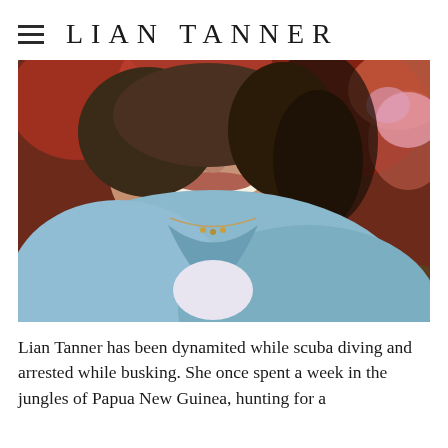LIAN TANNER
[Figure (photo): Portrait photo of Lian Tanner, a smiling woman wearing a light blue fleece zip-up jacket and a delicate necklace, photographed outdoors with a blurred red and green floral background.]
Lian Tanner has been dynamited while scuba diving and arrested while busking. She once spent a week in the jungles of Papua New Guinea, hunting for a